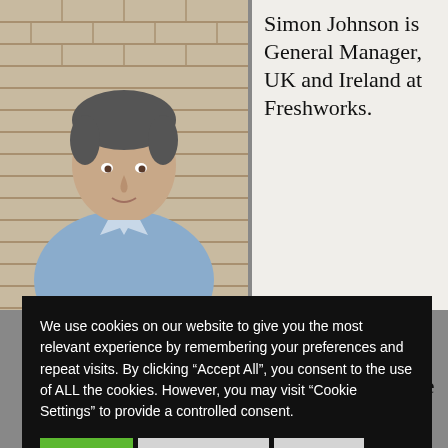[Figure (photo): Portrait photo of Simon Johnson, a man in a light blue shirt, against a brick wall background]
Simon Johnson is General Manager, UK and Ireland at Freshworks.
We use cookies on our website to give you the most relevant experience by remembering your preferences and repeat visits. By clicking “Accept All”, you consent to the use of ALL the cookies. However, you may visit “Cookie Settings” to provide a controlled consent.
Accept All   Cookie Settings   Reject All
approach to building and delivering software that is affordable, quick to implement, and